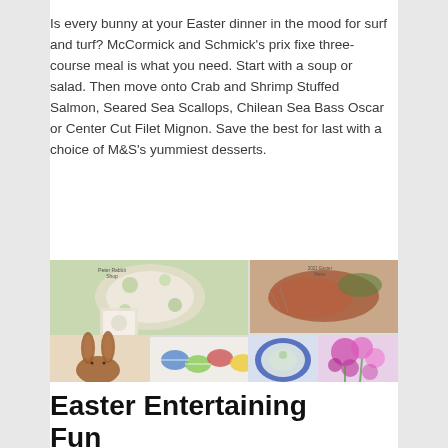Is every bunny at your Easter dinner in the mood for surf and turf? McCormick and Schmick's prix fixe three-course meal is what you need. Start with a soup or salad. Then move onto Crab and Shrimp Stuffed Salmon, Seared Sea Scallops, Chilean Sea Bass Oscar or Center Cut Filet Mignon. Save the best for last with a choice of M&S's yummiest desserts.
[Figure (photo): A collage of Easter-themed photos: Easter tableware with Peter Rabbit motifs, a sliced ham dinner, colorful Easter eggs, a chocolate bunny figurine, a floral table setting with blue plates, and pink tulips.]
Easter Entertaining Fun